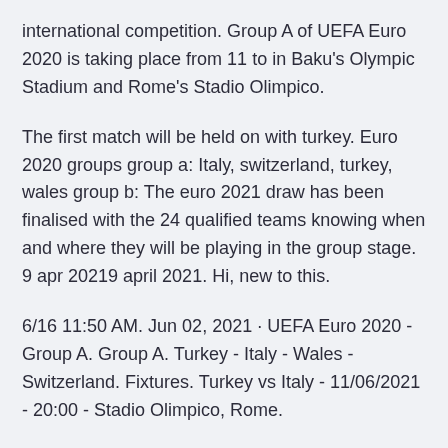international competition. Group A of UEFA Euro 2020 is taking place from 11 to in Baku's Olympic Stadium and Rome's Stadio Olimpico.
The first match will be held on with turkey. Euro 2020 groups group a: Italy, switzerland, turkey, wales group b: The euro 2021 draw has been finalised with the 24 qualified teams knowing when and where they will be playing in the group stage. 9 apr 20219 april 2021. Hi, new to this.
6/16 11:50 AM. Jun 02, 2021 · UEFA Euro 2020 - Group A. Group A. Turkey - Italy - Wales - Switzerland. Fixtures. Turkey vs Italy - 11/06/2021 - 20:00 - Stadio Olimpico, Rome.
Turkey euro 2020 squad key players. Fifa 21 turkey euro